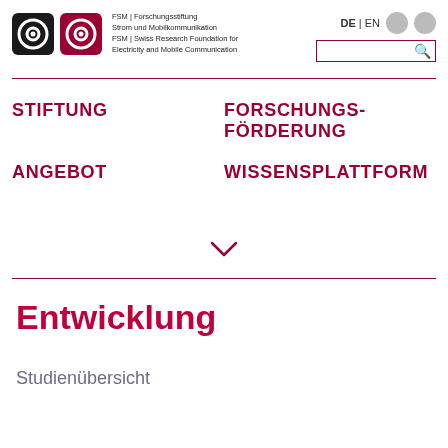[Figure (logo): FSM logo with two icons (black and red squares with concentric circles) and organization name text]
DE | EN
[Figure (other): Two grey circle icons and a search box with magnifying glass icon]
STIFTUNG
FORSCHUNGS-FÖRDERUNG
ANGEBOT
WISSENSPLATTFORM
[Figure (other): Chevron/arrow down symbol]
Entwicklung
Studienübersicht